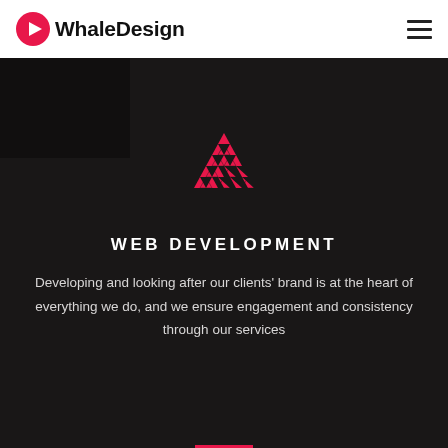WhaleDesign
[Figure (logo): Red triangular grid logo (WhaleDesign brand mark) composed of small triangles forming a larger hollow triangle shape, in pink/red color]
WEB DEVELOPMENT
Developing and looking after our clients' brand is at the heart of everything we do, and we ensure engagement and consistency through our services